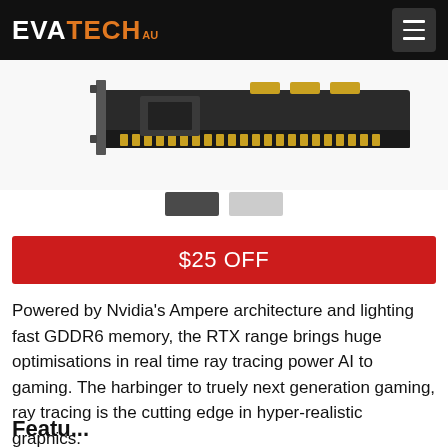EVATECH AU
[Figure (photo): Product photo of a graphics card (GPU) shown from above at an angle, with gold connectors visible on a PCIe slot edge, against a white background.]
$25 OFF
Powered by Nvidia's Ampere architecture and lighting fast GDDR6 memory, the RTX range brings huge optimisations in real time ray tracing power AI to gaming. The harbinger to truely next generation gaming, ray tracing is the cutting edge in hyper-realistic graphics.